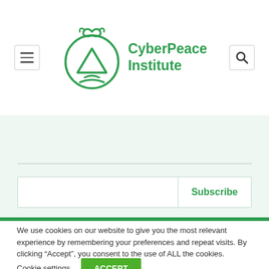[Figure (logo): CyberPeace Institute logo: green circular droplet/leaf icon with mountain and wifi-like waves, accompanied by green text 'CyberPeace Institute']
Subscribe
We use cookies on our website to give you the most relevant experience by remembering your preferences and repeat visits. By clicking “Accept”, you consent to the use of ALL the cookies.
Cookie settings
ACCEPT